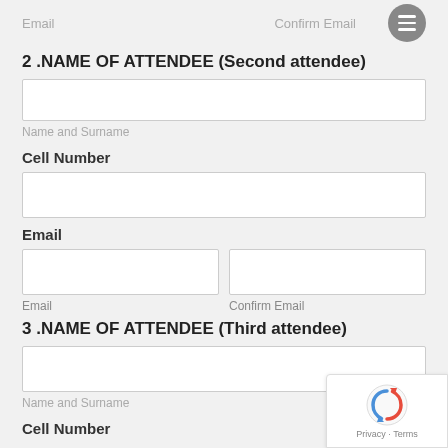Email    Confirm Email
2 .NAME OF ATTENDEE (Second attendee)
Name and Surname
Cell Number
Email
Email
Confirm Email
3 .NAME OF ATTENDEE (Third attendee)
Name and Surname
Cell Number